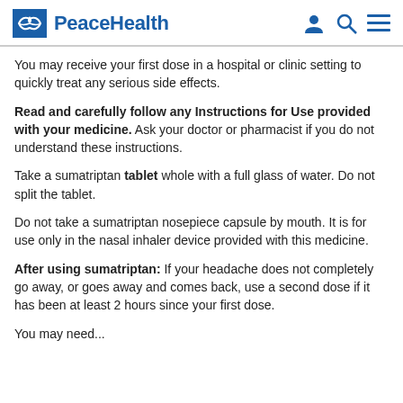PeaceHealth
You may receive your first dose in a hospital or clinic setting to quickly treat any serious side effects.
Read and carefully follow any Instructions for Use provided with your medicine. Ask your doctor or pharmacist if you do not understand these instructions.
Take a sumatriptan tablet whole with a full glass of water. Do not split the tablet.
Do not take a sumatriptan nosepiece capsule by mouth. It is for use only in the nasal inhaler device provided with this medicine.
After using sumatriptan: If your headache does not completely go away, or goes away and comes back, use a second dose if it has been at least 2 hours since your first dose.
You may need...